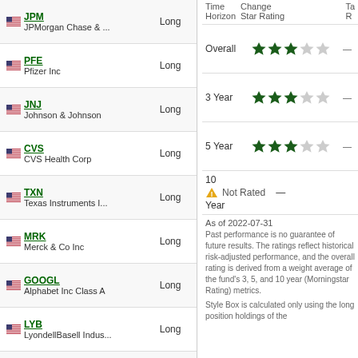Time Horizon | Change Star Rating | Ta R
| Stock | Time Horizon |
| --- | --- |
| JPM JPMorgan Chase & ... | Long |
| PFE Pfizer Inc | Long |
| JNJ Johnson & Johnson | Long |
| CVS CVS Health Corp | Long |
| TXN Texas Instruments I... | Long |
| MRK Merck & Co Inc | Long |
| GOOGL Alphabet Inc Class A | Long |
| LYB LyondellBasell Indus... | Long |
| MET MetLife Inc | Long |
| CSCO Cisco Systems Inc | Long |
| Period | Star Rating |
| --- | --- |
| Overall | 3 stars |
| 3 Year | 3 stars |
| 5 Year | 3 stars |
| 10 Year | Not Rated |
As of 2022-07-31
Past performance is no guarantee of future results. The ratings reflect historical risk-adjusted performance, and the overall rating is derived from a weight average of the fund's 3, 5, and 10 year (Morningstar Rating) metrics.
Style Box is calculated only using the long position holdings of the